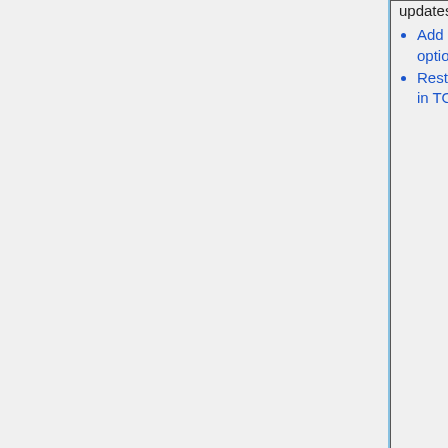| Description | Contact | Type |
| --- | --- | --- |
| updates
• Add biomass burning subgrid coagulation option
• Restore DST1, DST2, DST3, and DST4 in TOMAS simulations | Ramnarine (Colorado State)
Jeff Pierce (Colorado State)
Betty Croft (Dalhousie) |  |
| Fix Henry's Law coefficient for C2H6 | Chris Holmes (FSU) | Bug fix |
| Add routine to save the GC species | Bob Yantosca (GCST) | Structural |